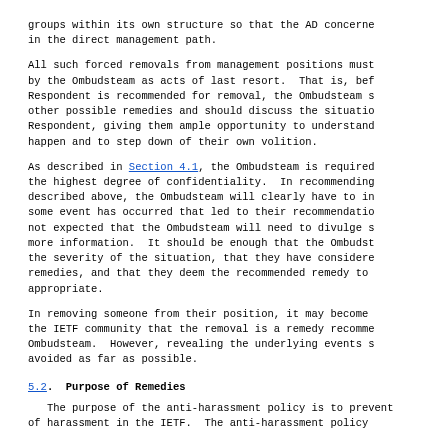groups within its own structure so that the AD concerne in the direct management path.
All such forced removals from management positions must by the Ombudsteam as acts of last resort. That is, bef Respondent is recommended for removal, the Ombudsteam s other possible remedies and should discuss the situatio Respondent, giving them ample opportunity to understand happen and to step down of their own volition.
As described in Section 4.1, the Ombudsteam is required the highest degree of confidentiality. In recommending described above, the Ombudsteam will clearly have to in some event has occurred that led to their recommendatio not expected that the Ombudsteam will need to divulge s more information. It should be enough that the Ombudst the severity of the situation, that they have considere remedies, and that they deem the recommended remedy to appropriate.
In removing someone from their position, it may become the IETF community that the removal is a remedy recomme Ombudsteam. However, revealing the underlying events s avoided as far as possible.
5.2. Purpose of Remedies
The purpose of the anti-harassment policy is to prevent of harassment in the IETF. The anti-harassment policy